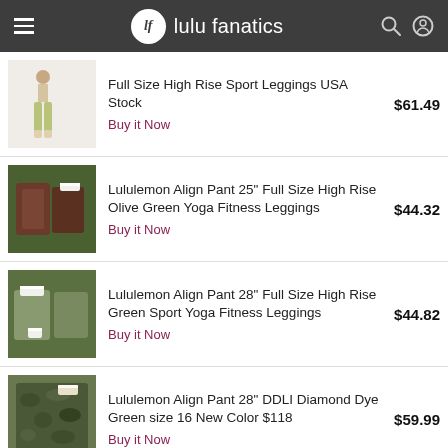lulu fanatics
Full Size High Rise Sport Leggings USA Stock — $61.49 — Buy it Now
Lululemon Align Pant 25" Full Size High Rise Olive Green Yoga Fitness Leggings — $44.32 — Buy it Now
Lululemon Align Pant 28" Full Size High Rise Green Sport Yoga Fitness Leggings — $44.82 — Buy it Now
Lululemon Align Pant 28" DDLI Diamond Dye Green size 16 New Color $118 — $59.99 — Buy it Now
WOMENS LULULEMON OLIVE GREEN ALIGN 7/8 ATHLETIC LEGGING PANT